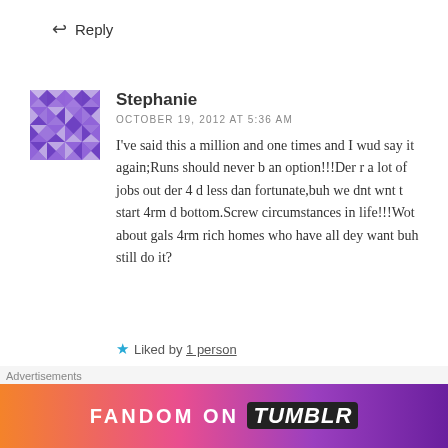↩ Reply
[Figure (illustration): Purple and white geometric quilt-pattern avatar for user Stephanie]
Stephanie
OCTOBER 19, 2012 AT 5:36 AM
I've said this a million and one times and I wud say it again;Runs should never b an option!!!Der r a lot of jobs out der 4 d less dan fortunate,buh we dnt wnt t start 4rm d bottom.Screw circumstances in life!!!Wot about gals 4rm rich homes who have all dey want buh still do it?
★ Liked by 1 person
↩ Reply
Advertisements
[Figure (illustration): Fandom on Tumblr colorful advertisement banner with gradient background from orange to purple]